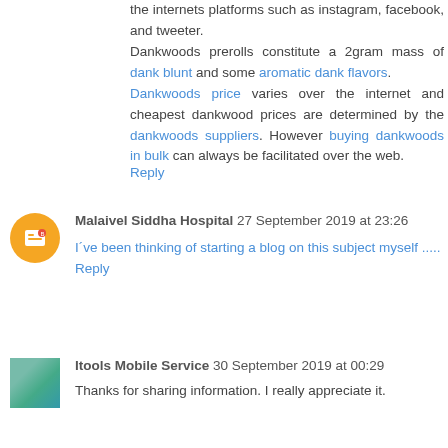the internets platforms such as instagram, facebook, and tweeter.
Dankwoods prerolls constitute a 2gram mass of dank blunt and some aromatic dank flavors.
Dankwoods price varies over the internet and cheapest dankwood prices are determined by the dankwoods suppliers. However buying dankwoods in bulk can always be facilitated over the web.
Reply
Malaivel Siddha Hospital 27 September 2019 at 23:26
I've been thinking of starting a blog on this subject myself .....
Reply
Itools Mobile Service 30 September 2019 at 00:29
Thanks for sharing information. I really appreciate it.